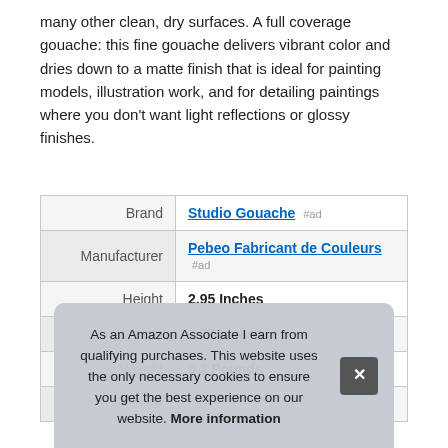many other clean, dry surfaces. A full coverage gouache: this fine gouache delivers vibrant color and dries down to a matte finish that is ideal for painting models, illustration work, and for detailing paintings where you don't want light reflections or glossy finishes.
|  |  |
| --- | --- |
| Brand | Studio Gouache #ad |
| Manufacturer | Pebeo Fabricant de Couleurs #ad |
| Height | 2.95 Inches |
| Length | 1.77 Inches |
| Weight | 0.2 Pounds |
| P |  |
As an Amazon Associate I earn from qualifying purchases. This website uses the only necessary cookies to ensure you get the best experience on our website. More information